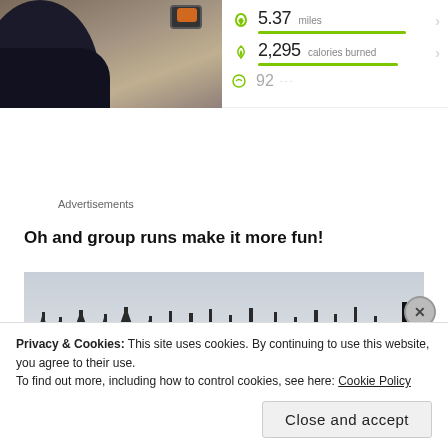[Figure (photo): Close-up photo of a person's leg/boot while running, with watch visible, and a fitness app stats panel on the right showing 5.37 miles, 2,295 calories burned, and a partially visible third stat]
5.37 miles
2,295 calories burned
Advertisements
Oh and group runs make it more fun!
[Figure (photo): Winter outdoor photo showing bare tree silhouettes against a grey sky, with a dark vertical pole on the right side]
Privacy & Cookies: This site uses cookies. By continuing to use this website, you agree to their use.
To find out more, including how to control cookies, see here: Cookie Policy
Close and accept